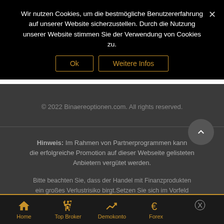Wir nutzen Cookies, um die bestmögliche Benutzererfahrung auf unserer Website sicherzustellen. Durch die Nutzung unserer Website stimmen Sie der Verwendung von Cookies zu.
Ok
Weitere Infos
© 2022 Binaereoptionen.com. All rights reserved.
Hinweis: Im Rahmen von Partnerprogrammen kann die erfolgreiche Promotion auf dieser Webseite gelisteten Anbietern vergütet werden.
Bitte beachten Sie, dass der Handel mit Finanzprodukten ein großes Verlustrisiko birgt.Setzen Sie sich im Vorfeld mit den AGB des jeweiligen Anbieters auseinander und
Home  Top Broker  Demokonto  Forex